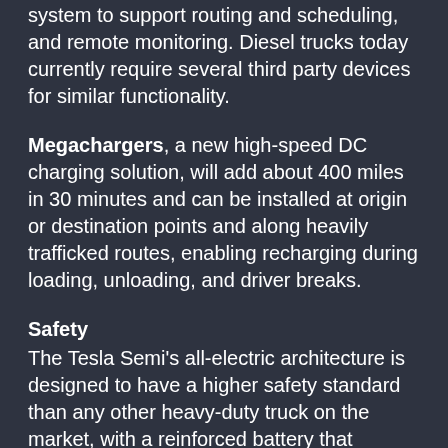system to support routing and scheduling, and remote monitoring. Diesel trucks today currently require several third party devices for similar functionality.
Megachargers, a new high-speed DC charging solution, will add about 400 miles in 30 minutes and can be installed at origin or destination points and along heavily trafficked routes, enabling recharging during loading, unloading, and driver breaks.
Safety
The Tesla Semi's all-electric architecture is designed to have a higher safety standard than any other heavy-duty truck on the market, with a reinforced battery that shields the Semi from impact and gives it an exceptionally low center of gravity. Its windshield is made of impact resistant glass. Jackknifing is prevented due to the Semi's onboard sensors that detect instability and react with positive or negative torque to each wheel while independently actuating all brakes. The surround cameras aid object detection and minimize blind spots,